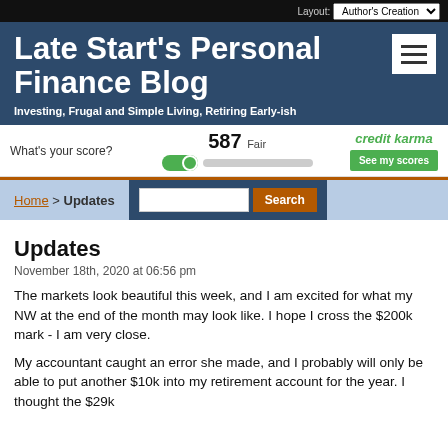Layout: Author's Creation
Late Start's Personal Finance Blog
Investing, Frugal and Simple Living, Retiring Early-ish
[Figure (infographic): Credit Karma ad banner showing credit score 587 Fair with a slider/toggle and green 'See my scores' button]
Home > Updates  [Search bar]
Updates
November 18th, 2020 at 06:56 pm
The markets look beautiful this week, and I am excited for what my NW at the end of the month may look like. I hope I cross the $200k mark - I am very close.
My accountant caught an error she made, and I probably will only be able to put another $10k into my retirement account for the year. I thought the $29k